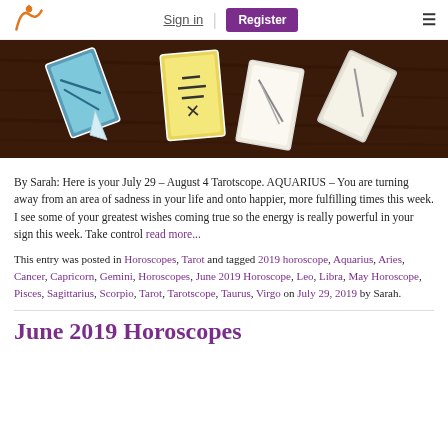Sign in | Register
[Figure (photo): Tarot cards spread on a dark wooden table, colorful card faces visible]
By Sarah: Here is your July 29 – August 4 Tarotscope. AQUARIUS – You are turning away from an area of sadness in your life and onto happier, more fulfilling times this week. I see some of your greatest wishes coming true so the energy is really powerful in your sign this week. Take control read more...
This entry was posted in Horoscopes, Tarot and tagged 2019 horoscope, Aquarius, Aries, Cancer, Capricorn, Gemini, Horoscopes, June 2019 Horoscope, Leo, Libra, May Horoscope, Pisces, Sagittarius, Scorpio, Tarot, Tarotscope, Taurus, Virgo on July 29, 2019 by Sarah.
June 2019 Horoscopes